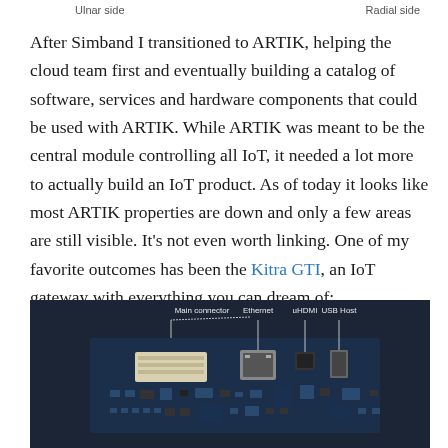Ulnar side    Radial side
After Simband I transitioned to ARTIK, helping the cloud team first and eventually building a catalog of software, services and hardware components that could be used with ARTIK. While ARTIK was meant to be the central module controlling all IoT, it needed a lot more to actually build an IoT product. As of today it looks like most ARTIK properties are down and only a few areas are still visible. It’s not even worth linking. One of my favorite outcomes has been the Kitra GTI, an IoT gateway with everything you can dream of:
[Figure (photo): Photo of a circuit board (IoT gateway) with labels pointing to Main connector, Ethernet, uHDMI, and USB Host ports on a dark navy background.]